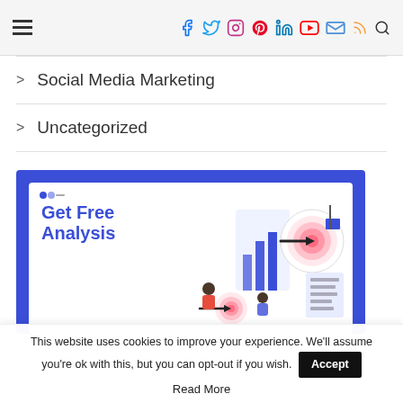Navigation header with hamburger menu and social media icons: Facebook, Twitter, Instagram, Pinterest, LinkedIn, YouTube, Email, RSS, Search
> Social Media Marketing
> Uncategorized
[Figure (illustration): Promotional banner with blue background and inner white card showing 'Get Free Analysis' text with marketing/target imagery including bullseye targets, charts, and people]
This website uses cookies to improve your experience. We'll assume you're ok with this, but you can opt-out if you wish. Accept Read More